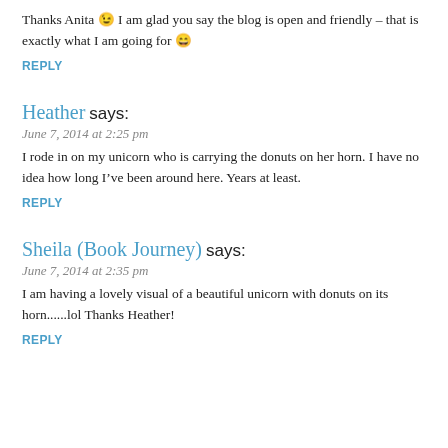Thanks Anita 😉 I am glad you say the blog is open and friendly – that is exactly what I am going for 😀
REPLY
Heather says:
June 7, 2014 at 2:25 pm
I rode in on my unicorn who is carrying the donuts on her horn. I have no idea how long I've been around here. Years at least.
REPLY
Sheila (Book Journey) says:
June 7, 2014 at 2:35 pm
I am having a lovely visual of a beautiful unicorn with donuts on its horn......lol Thanks Heather!
REPLY